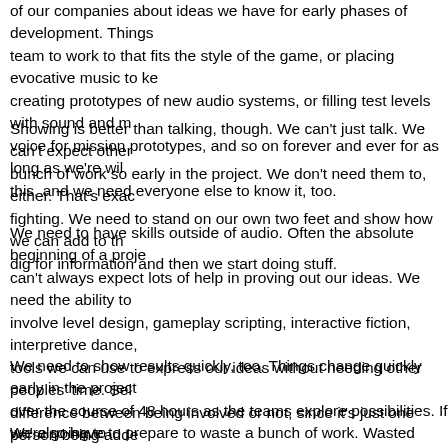of our companies about ideas we have for early phases of development. Things team to work to that fits the style of the game, or placing evocative music to ke creating prototypes of new audio systems, or filling test levels with sound and m voice for mission prototypes, and so on forever and ever for as long as we're wil this, and we need everyone else to know it, too.
Showing is better than talking, though. We can't just talk. We can't expect other bunch of work so early in the project. We don't need them to, either. That's exac fighting. We need to stand on our own two feet and show how we can add to th dig for information and then we start doing stuff.
We need to have skills outside of audio. Often the absolute beginning of a proje can't always expect lots of help in proving out our ideas. We need the ability to involve level design, gameplay scripting, interactive fiction, interpretive dance, tools we can use to express our ideas without needing other peoples' time. Sel difference between being involved or not, since it's just one person being adde cadre of people.
We need to show results quickly, too. Things change quickly early in the project over the course of 48 hours as the teams explore possibilities. If we're going to adept at quick sound design that gets the point across.
We also have to prepare to waste a bunch of work. Wasted work is a pretty dre